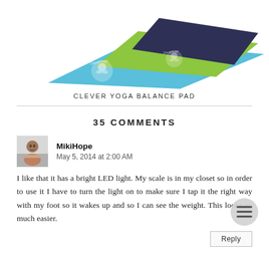[Figure (photo): Product photo showing stacked yoga balance pads in blue, green, and dark navy colors with CleverYoga branding logos on them.]
CLEVER YOGA BALANCE PAD
35 COMMENTS
[Figure (photo): Avatar/profile photo of commenter MikiHope — a woman photographed indoors.]
MikiHope
May 5, 2014 at 2:00 AM
I like that it has a bright LED light. My scale is in my closet so in order to use it I have to turn the light on to make sure I tap it the right way with my foot so it wakes up and so I can see the weight. This looks so much easier.